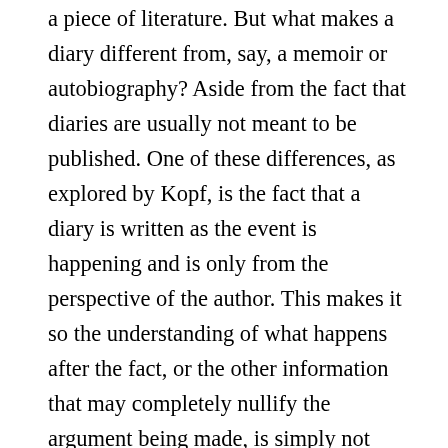a piece of literature. But what makes a diary different from, say, a memoir or autobiography? Aside from the fact that diaries are usually not meant to be published. One of these differences, as explored by Kopf, is the fact that a diary is written as the event is happening and is only from the perspective of the author. This makes it so the understanding of what happens after the fact, or the other information that may completely nullify the argument being made, is simply not there. Of course, since a diary is normally ongoing, we have the following entries to help us comprehend the whole situation. But you will still never have the full story because of the first-person narrative, because in literature, the